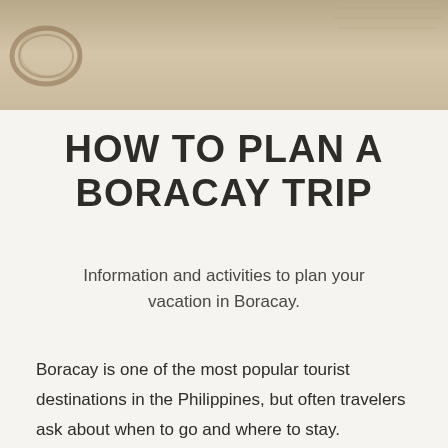[Figure (photo): Top banner photo strip showing a map and coffee ring stain, in warm beige and tan tones]
HOW TO PLAN A BORACAY TRIP
Information and activities to plan your vacation in Boracay.
Boracay is one of the most popular tourist destinations in the Philippines, but often travelers ask about when to go and where to stay.